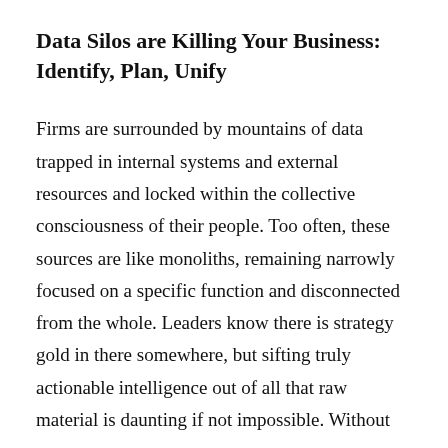Data Silos are Killing Your Business: Identify, Plan, Unify
Firms are surrounded by mountains of data trapped in internal systems and external resources and locked within the collective consciousness of their people. Too often, these sources are like monoliths, remaining narrowly focused on a specific function and disconnected from the whole. Leaders know there is strategy gold in there somewhere, but sifting truly actionable intelligence out of all that raw material is daunting if not impossible. Without